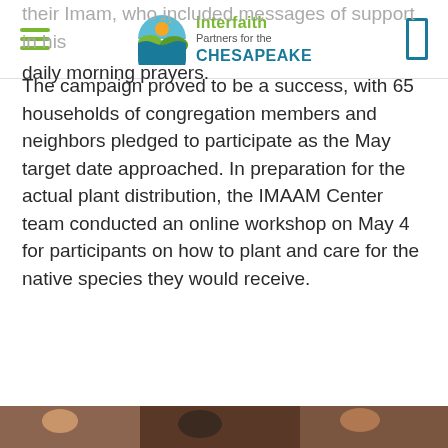Interfaith Partners for the CHESAPEAKE
their Imam, who included messages of support in his daily morning prayers.
The campaign proved to be a success, with 65 households of congregation members and neighbors pledged to participate as the May target date approached. In preparation for the actual plant distribution, the IMAAM Center team conducted an online workshop on May 4 for participants on how to plant and care for the native species they would receive.
[Figure (photo): Partial photo at bottom of page, showing people or outdoor scene, cropped]